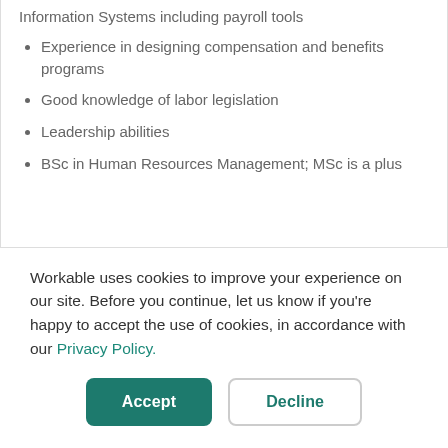Information Systems including payroll tools
Experience in designing compensation and benefits programs
Good knowledge of labor legislation
Leadership abilities
BSc in Human Resources Management; MSc is a plus
Workable uses cookies to improve your experience on our site. Before you continue, let us know if you're happy to accept the use of cookies, in accordance with our Privacy Policy.
Accept | Decline